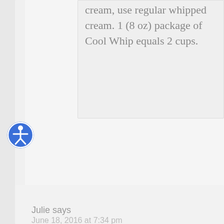cream, use regular whipped cream. 1 (8 oz) package of Cool Whip equals 2 cups.
Julie says
June 18, 2016 at 7:34 pm